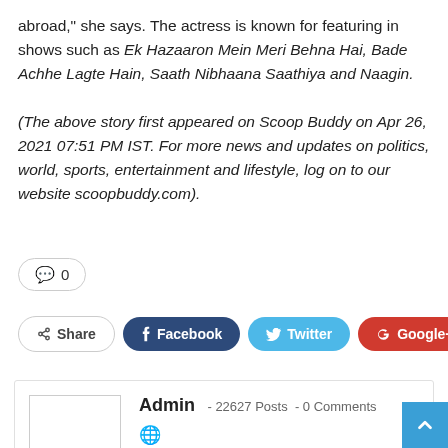abroad," she says. The actress is known for featuring in shows such as Ek Hazaaron Mein Meri Behna Hai, Bade Achhe Lagte Hain, Saath Nibhaana Saathiya and Naagin.
(The above story first appeared on Scoop Buddy on Apr 26, 2021 07:51 PM IST. For more news and updates on politics, world, sports, entertainment and lifestyle, log on to our website scoopbuddy.com).
0 comments
Share | Facebook | Twitter | Google+ | +
Admin - 22627 Posts - 0 Comments